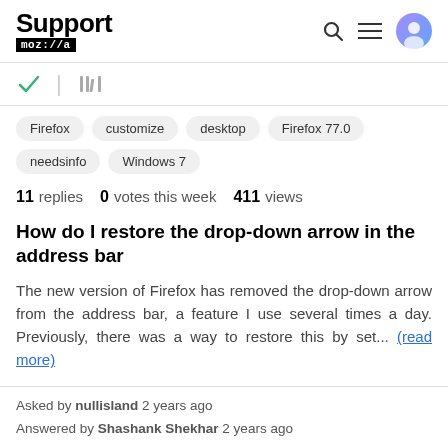Support mozilla// [search] [menu] [user icon]
[Figure (other): Toolbar row with green checkmark and vertical bar and shelf/library icon]
Firefox   customize   desktop   Firefox 77.0   needsinfo   Windows 7
11 replies   0 votes this week   411 views
How do I restore the drop-down arrow in the address bar
The new version of Firefox has removed the drop-down arrow from the address bar, a feature I use several times a day. Previously, there was a way to restore this by set... (read more)
Asked by nullisland 2 years ago
Answered by Shashank Shekhar 2 years ago